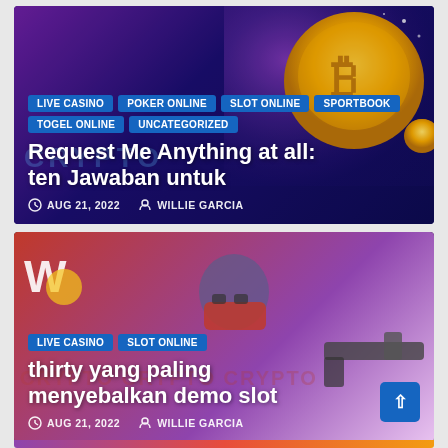[Figure (screenshot): Blog article card 1: cryptocurrency/gaming themed image with gold bitcoin coin and purple background. Tags: LIVE CASINO, POKER ONLINE, SLOT ONLINE, SPORTBOOK, TOGEL ONLINE, UNCATEGORIZED. Title: Request Me Anything at all: ten Jawaban untuk. Date: AUG 21, 2022. Author: WILLIE GARCIA.]
[Figure (screenshot): Blog article card 2: gaming action themed image with masked character holding gun, pink/purple background, logo 'W'. Tags: LIVE CASINO, SLOT ONLINE. Title: thirty yang paling menyebalkan demo slot. Date: AUG 21, 2022. Author: WILLIE GARCIA.]